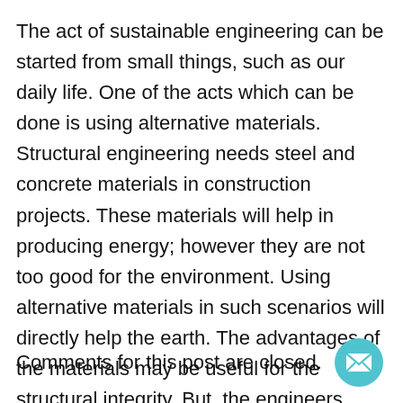The act of sustainable engineering can be started from small things, such as our daily life. One of the acts which can be done is using alternative materials. Structural engineering needs steel and concrete materials in construction projects. These materials will help in producing energy; however they are not too good for the environment. Using alternative materials in such scenarios will directly help the earth. The advantages of the materials may be useful for the structural integrity. But, the engineers should be convinced to use the alternative materials.
Comments for this post are closed.